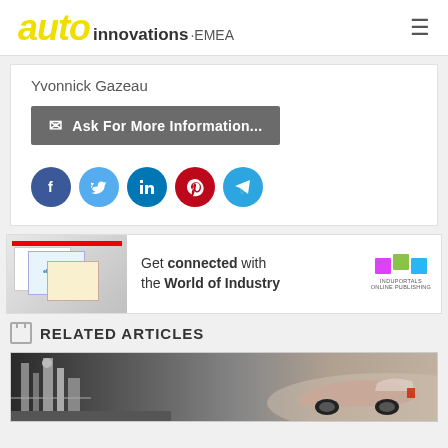[Figure (logo): AUTO innovations EMEA logo with yellow italic AUTO text and hamburger menu icon]
Yvonnick Gazeau
Ask For More Information...
[Figure (infographic): Social sharing icons row: Facebook (dark blue), Twitter (light blue), LinkedIn (blue), Pinterest (red), Telegram (light blue)]
[Figure (infographic): Induportals ad banner: Get connected with the World of Industry]
RELATED ARTICLES
[Figure (photo): Photo strip showing industrial/automotive scene with car in background]